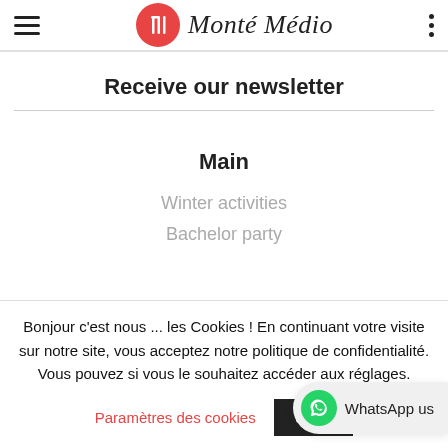Monté Médio
Receive our newsletter
Main
Winter activities
Bachelor party
Bonjour c'est nous ... les Cookies ! En continuant votre visite sur notre site, vous acceptez notre politique de confidentialité. Vous pouvez si vous le souhaitez accéder aux réglages.
Paramètres des cookies
J'AC...
WhatsApp us